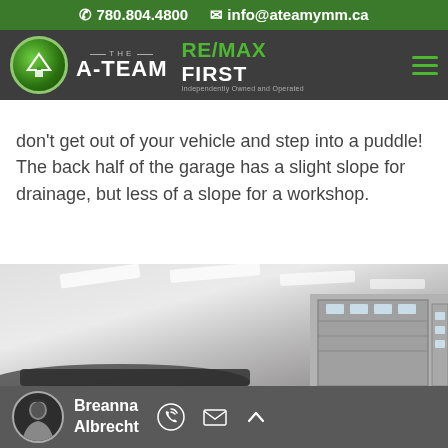☎ 780.804.4800  ✉ info@ateamymm.ca
[Figure (logo): The A-Team RE/MAX First logo with navigation bar on dark background]
don't get out of your vehicle and step into a puddle! The back half of the garage has a slight slope for drainage, but less of a slope for a workshop.
[Figure (photo): Interior of a large white garage with fluorescent ceiling lights and a garage door visible on the right side]
Breanna Albrecht